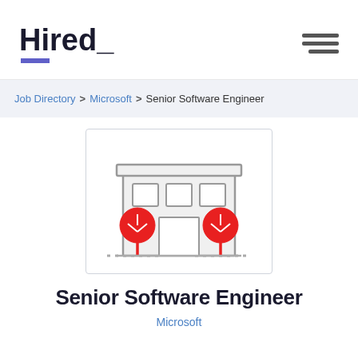Hired_
Job Directory > Microsoft > Senior Software Engineer
[Figure (illustration): Line-art illustration of an office building with gray walls, rectangular windows, a door, and two red circular trees in front]
Senior Software Engineer
Microsoft